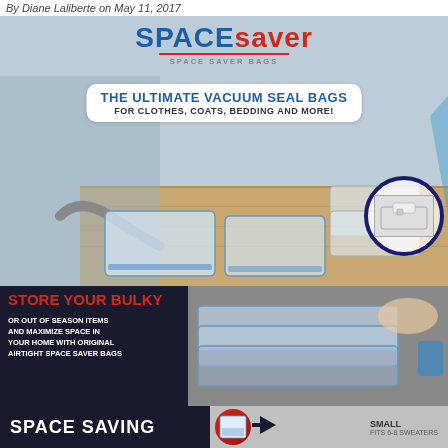By Diane Laliberte on May 11, 2017
[Figure (photo): Space Saver brand vacuum seal storage bags product advertisement showing a woman vacuuming air from clear storage bags laid on a wooden floor, with multiple compressed flat bags visible. Includes Space Saver logo, tagline banner, and highlighted valve closeup circle.]
THE ULTIMATE VACUUM SEAL BAGS FOR CLOTHES, COATS, BEDDING AND MORE!
[Figure (photo): Lower section showing dark navy background with red 'STORE YOUR BULKY' heading and white descriptive text on left, with photo of person rolling vacuum seal bags on right side.]
STORE YOUR BULKY
OR OUT OF SEASON ITEMS AND MAXIMIZE SPACE IN YOUR HOME WITH ORIGINAL AIRTIGHT SPACE SAVER BAGS
[Figure (photo): Bottom strip showing 'SPACE SAVING' text with product image circle badge and 'SMALL FITS 6-8 SWEATERS' label on right.]
SPACE SAVING
SMALL
FITS 6-8 SWEATERS